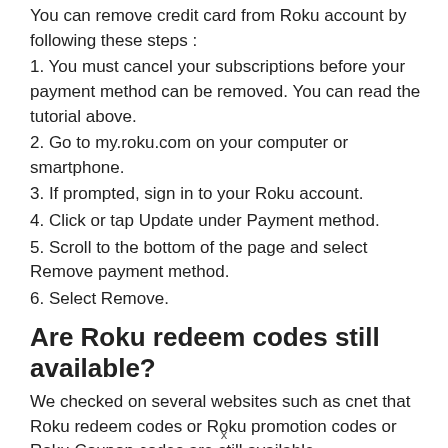You can remove credit card from Roku account by following these steps :
1. You must cancel your subscriptions before your payment method can be removed. You can read the tutorial above.
2. Go to my.roku.com on your computer or smartphone.
3. If prompted, sign in to your Roku account.
4. Click or tap Update under Payment method.
5. Scroll to the bottom of the page and select Remove payment method.
6. Select Remove.
Are Roku redeem codes still available?
We checked on several websites such as cnet that Roku redeem codes or Roku promotion codes or Roku Coupon codes are still available.
x